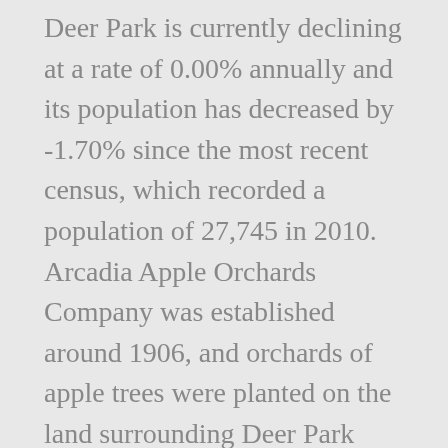Deer Park is currently declining at a rate of 0.00% annually and its population has decreased by -1.70% since the most recent census, which recorded a population of 27,745 in 2010. Arcadia Apple Orchards Company was established around 1906, and orchards of apple trees were planted on the land surrounding Deer Park which had been cleared by the logging activity. Address. Login Form. We are a supportive City for new and established businesses. Deer Park is a city in Spokane County, Washington, United States. Rocky mountain mule deer (Odocoileus hemionus hemionus) (Fig. Under 5 years: 1,131. The per capita income for the city was $17,132. Discover Deer Park was born during a